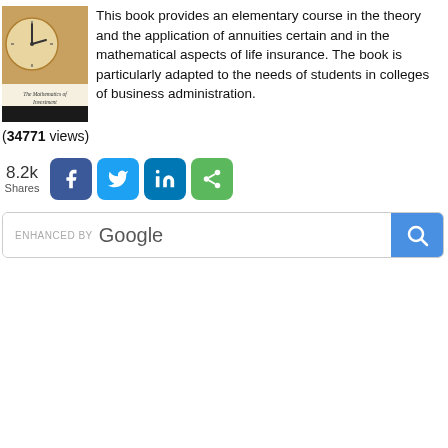[Figure (illustration): Book cover of 'The Mathematics of Investment' showing a clock face on a brown/orange background with the title text and a black bar at the bottom.]
This book provides an elementary course in the theory and the application of annuities certain and in the mathematical aspects of life insurance. The book is particularly adapted to the needs of students in colleges of business administration.
(34771 views)
[Figure (infographic): Social share buttons: 8.2k Shares, Facebook (blue), Twitter (light blue), LinkedIn (dark blue), Share (green)]
[Figure (screenshot): Enhanced by Google search bar with a blue search button on the right]